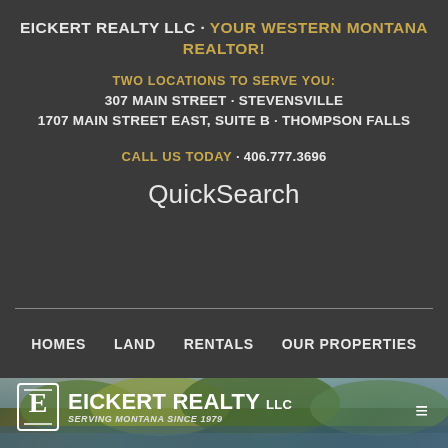EICKERT REALTY LLC · YOUR WESTERN MONTANA REALTOR!
TWO LOCATIONS TO SERVE YOU:
307 MAIN STREET · STEVENSVILLE
1707 MAIN STREET EAST, SUITE B · THOMPSON FALLS
CALL US TODAY · 406.777.3696
QuickSearch
HOMES
LAND
RENTALS
OUR PROPERTIES
[Figure (photo): Scenic Montana river landscape with autumn trees and forest in background]
EICKERT REALTY LLC
SERVING MONTANA SINCE 1979